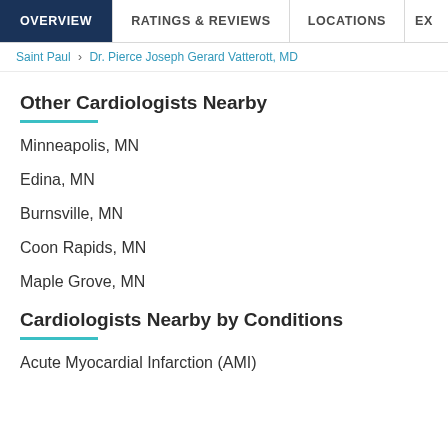OVERVIEW | RATINGS & REVIEWS | LOCATIONS | EX
Saint Paul › Dr. Pierce Joseph Gerard Vatterott, MD
Other Cardiologists Nearby
Minneapolis, MN
Edina, MN
Burnsville, MN
Coon Rapids, MN
Maple Grove, MN
Cardiologists Nearby by Conditions
Acute Myocardial Infarction (AMI)